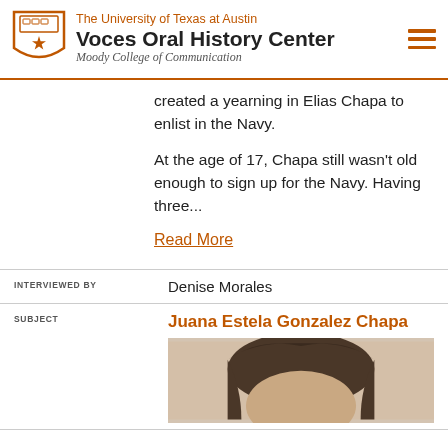The University of Texas at Austin Voces Oral History Center Moody College of Communication
created a yearning in Elias Chapa to enlist in the Navy.
At the age of 17, Chapa still wasn't old enough to sign up for the Navy. Having three...
Read More
INTERVIEWED BY	Denise Morales
SUBJECT	Juana Estela Gonzalez Chapa
[Figure (photo): Portrait photograph of Juana Estela Gonzalez Chapa, showing the top of the head with dark hair]